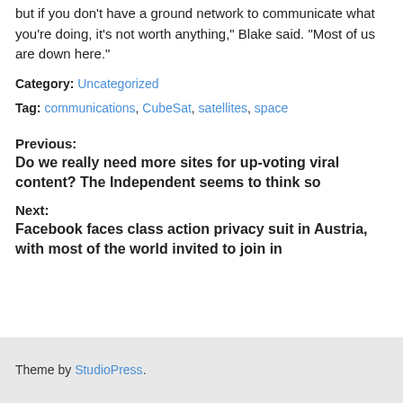but if you don't have a ground network to communicate what you're doing, it's not worth anything," Blake said. "Most of us are down here."
Category: Uncategorized
Tag: communications, CubeSat, satellites, space
Previous:
Do we really need more sites for up-voting viral content? The Independent seems to think so
Next:
Facebook faces class action privacy suit in Austria, with most of the world invited to join in
Theme by StudioPress.